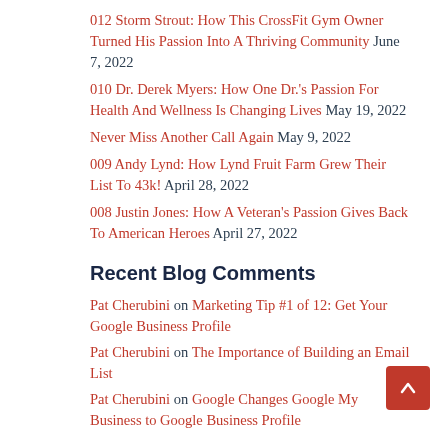012 Storm Strout: How This CrossFit Gym Owner Turned His Passion Into A Thriving Community June 7, 2022
010 Dr. Derek Myers: How One Dr.'s Passion For Health And Wellness Is Changing Lives May 19, 2022
Never Miss Another Call Again May 9, 2022
009 Andy Lynd: How Lynd Fruit Farm Grew Their List To 43k! April 28, 2022
008 Justin Jones: How A Veteran's Passion Gives Back To American Heroes April 27, 2022
Recent Blog Comments
Pat Cherubini on Marketing Tip #1 of 12: Get Your Google Business Profile
Pat Cherubini on The Importance of Building an Email List
Pat Cherubini on Google Changes Google My Business to Google Business Profile
Blog Categories
Advertising (9)